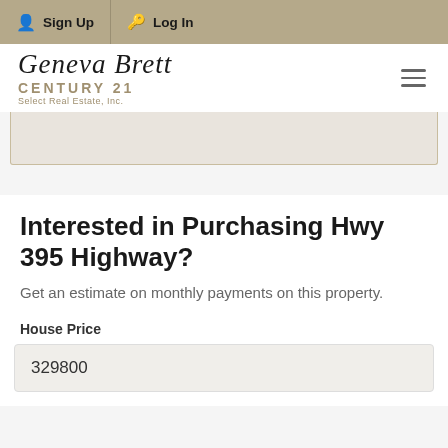Sign Up  Log In
[Figure (logo): Geneva Brett Century 21 Select Real Estate, Inc. logo with hamburger menu icon]
[Figure (photo): Partial property image placeholder]
Interested in Purchasing Hwy 395 Highway?
Get an estimate on monthly payments on this property.
House Price
329800